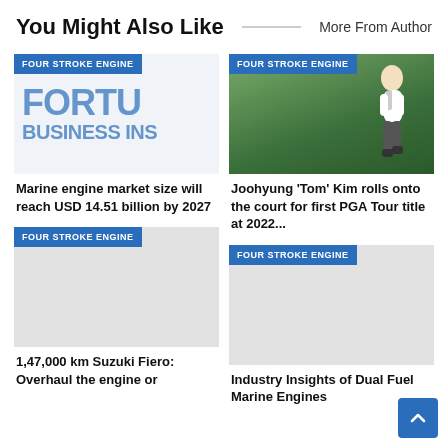You Might Also Like    More From Author
[Figure (screenshot): Thumbnail with FORTU / BUSINESS INS text partially visible, with FOUR STROKE ENGINE badge]
Marine engine market size will reach USD 14.51 billion by 2027
[Figure (photo): Photo of golfer Joohyung Tom Kim running on a golf course, with FOUR STROKE ENGINE badge]
Joohyung 'Tom' Kim rolls onto the court for first PGA Tour title at 2022...
[Figure (photo): Gray placeholder image with FOUR STROKE ENGINE badge]
1,47,000 km Suzuki Fiero: Overhaul the engine or
[Figure (photo): Gray placeholder image with FOUR STROKE ENGINE badge]
Industry Insights of Dual Fuel Marine Engines